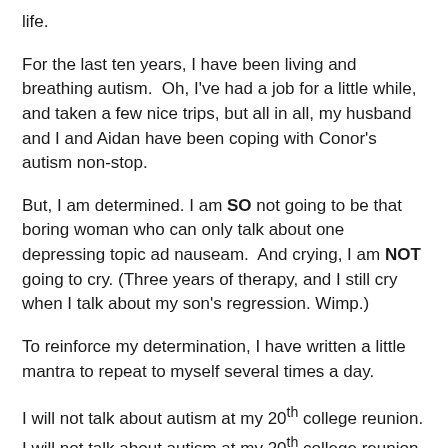life.
For the last ten years, I have been living and breathing autism.  Oh, I've had a job for a little while, and taken a few nice trips, but all in all, my husband and I and Aidan have been coping with Conor's autism non-stop.
But, I am determined. I am SO not going to be that boring woman who can only talk about one depressing topic ad nauseam.  And crying, I am NOT going to cry. (Three years of therapy, and I still cry when I talk about my son's regression. Wimp.)
To reinforce my determination, I have written a little mantra to repeat to myself several times a day.
I will not talk about autism at my 20th college reunion.
I will not talk about autism at my 20th college reunion.
I will not talk about autism at my 20th college reunion.
I will not talk about autism at my 20th college reunion.
I will not talk about autism at my 20th college reunion.